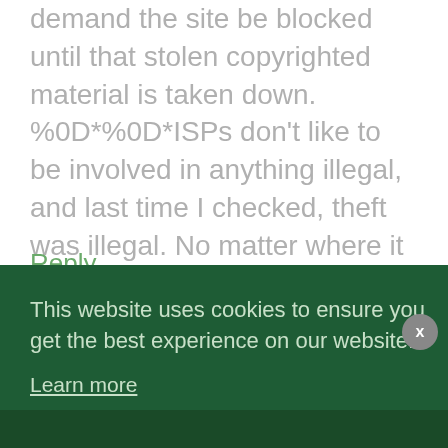demand the site be blocked until that stolen copyrighted material is taken down. %0D*%0D*ISPs don't like to be involved in anything illegal, and last time I checked, theft was illegal. No matter where it happens, no matter what country. And, by asking the ISP, I mean sending them one of those nice letters that names them as a liable party. Once they get that, they should 'get it' and then take it down.
Reply
This website uses cookies to ensure you get the best experience on our website.
Learn more